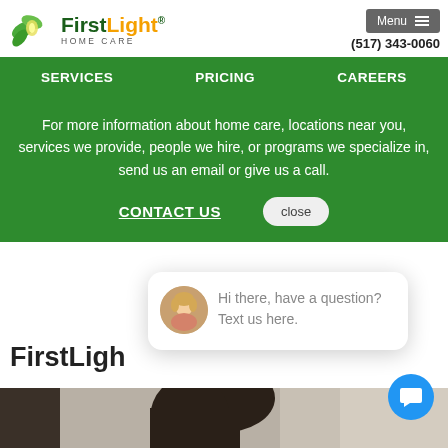[Figure (logo): FirstLight Home Care logo with green leaves and orange/green text]
Menu  (517) 343-0060
SERVICES   PRICING   CAREERS
For more information about home care, locations near you, services we provide, people we hire, or programs we specialize in, send us an email or give us a call.
CONTACT US
close
[Figure (photo): Chat widget with avatar photo of woman and text: Hi there, have a question? Text us here.]
FirstLigh
[Figure (photo): Bottom portion of page showing a person's head with dark hair, indoor setting]